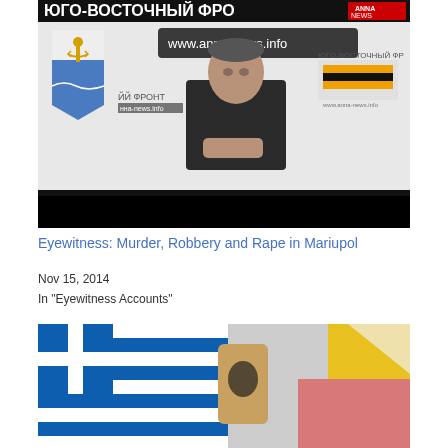[Figure (screenshot): Video screenshot of a press conference. A man in black sits at a table in front of a backdrop showing 'ЮГО-ВОСТОЧНЫЙ ФРОНТ' (South-Eastern Front) with ANNA News logo and URL www.anna-news.info. A coat of arms (Mariupol city shield) is visible on the left. Saint George ribbons visible in background.]
Eyewitness: Murder, Robbery and Rape in Mariupol
Nov 15, 2014
In "Eyewitness Accounts"
[Figure (screenshot): Image showing flags including what appears to be a Greek flag and other colorful elements including a hand/arm, yellow and pink/red fabric elements.]